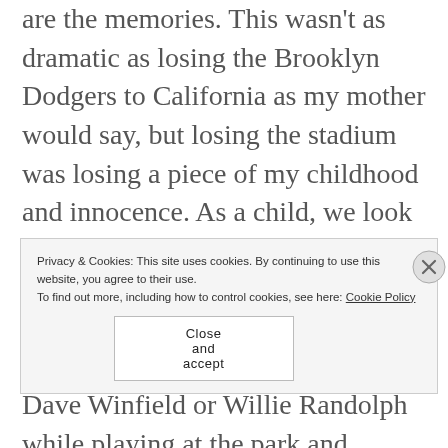are the memories. This wasn't as dramatic as losing the Brooklyn Dodgers to California as my mother would say, but losing the stadium was losing a piece of my childhood and innocence. As a child, we look to our heroes to help us define who we are and who we want to be. I still remember meeting Bucky Dent at a mall in Jersey, pretending I was Dave Winfield or Willie Randolph while playing at the park and collecting baseball cards til I turned blue.
Baseball is America's past time. It is also a
Privacy & Cookies: This site uses cookies. By continuing to use this website, you agree to their use.
To find out more, including how to control cookies, see here: Cookie Policy
Close and accept